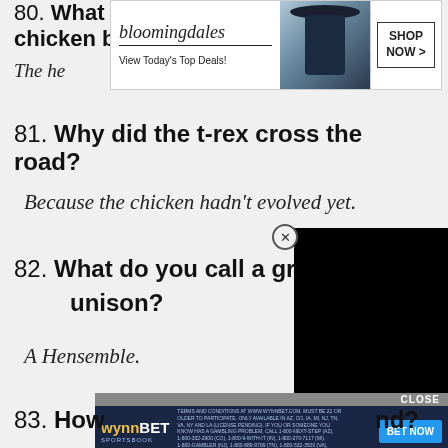80. What do you call the door to a chicken barn?
[Figure (screenshot): Bloomingdale's advertisement banner: logo, 'View Today's Top Deals!', woman with wide-brim hat, SHOP NOW > button]
The he[n door] (partially obscured)
81. Why did the t-rex cross the road?
Because the chicken hadn't evolved yet.
82. What do you call a group [of chickens singing] in unison?
[Figure (screenshot): Black video overlay with close button (circled X)]
A Hensemble.
[Figure (screenshot): WynnBet Sportsbook advertisement banner with CLOSE bar, logo, terms text, and BET NOW button]
83. Ho[w...nd?] (partially obscured)